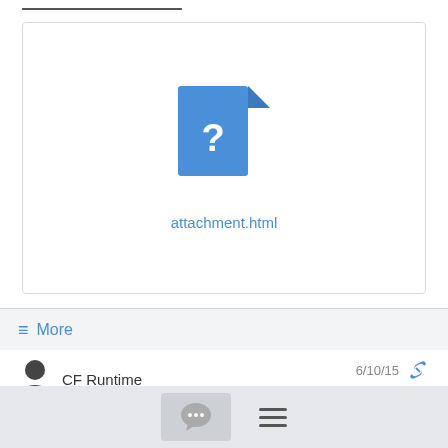[Figure (screenshot): Attachment box with a generic file icon (blue document with question mark) and the link text 'attachment.html']
attachment.html
≡ More
CF Runtime  6/10/15
It looks like you are trying to run with two etcd instances. etcd requires
either one instance, or three or more. You can see details here:
https://github.com/coreos/etcd/blob/master/Documentation/admin